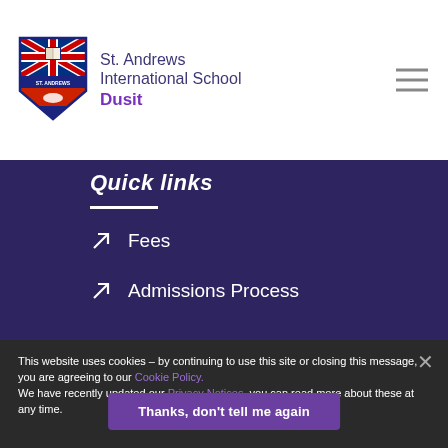[Figure (logo): St. Andrews International School Dusit shield logo with Union Jack, book, and feather elements]
St. Andrews International School Dusit
Quick links
↗ Fees
↗ Admissions Process
This website uses cookies – by continuing to use this site or closing this message, you are agreeing to our Cookie Policy. We have recently updated our Privacy Notices, you can read more about these at any time.
Thanks, don't tell me again